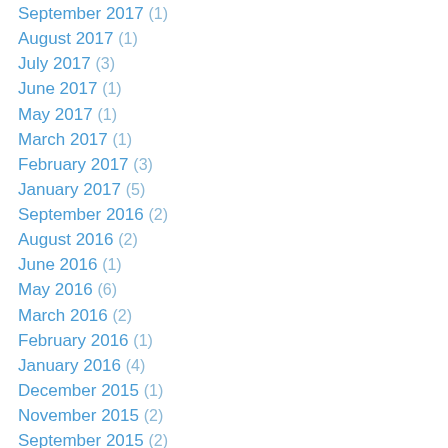September 2017 (1)
August 2017 (1)
July 2017 (3)
June 2017 (1)
May 2017 (1)
March 2017 (1)
February 2017 (3)
January 2017 (5)
September 2016 (2)
August 2016 (2)
June 2016 (1)
May 2016 (6)
March 2016 (2)
February 2016 (1)
January 2016 (4)
December 2015 (1)
November 2015 (2)
September 2015 (2)
June 2015 (2)